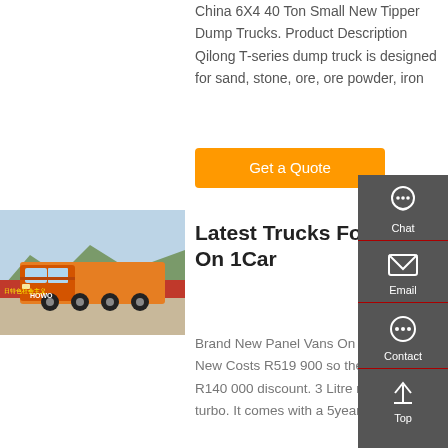China 6X4 40 Ton Small New Tipper Dump Trucks. Product Description Qilong T-series dump truck is designed for sand, stone, ore, ore powder, iron
Get a Quote
[Figure (photo): Orange heavy-duty truck (6x4 tractor unit) parked in front of banners with Chinese text and mountains in background]
Latest Trucks For Sale On 1Car
Brand New Panel Vans On Special, New Costs R519 900 so there is over R140 000 discount. 3 Litre motor with turbo. It comes with a 5year/100 000k...